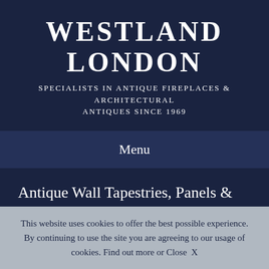WESTLAND LONDON
SPECIALISTS IN ANTIQUE FIREPLACES & ARCHITECTURAL ANTIQUES SINCE 1969
Menu
Antique Wall Tapestries, Panels & Paintings from Westland London
Our collection of Antique paintings and antique tapestry and panels includes fine antique wall tapestries, period oil paintings and
This website uses cookies to offer the best possible experience. By continuing to use the site you are agreeing to our usage of cookies. Find out more or Close  X